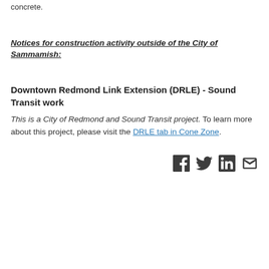concrete.
Notices for construction activity outside of the City of Sammamish:
Downtown Redmond Link Extension (DRLE) - Sound Transit work
This is a City of Redmond and Sound Transit project. To learn more about this project, please visit the DRLE tab in Cone Zone.
[Figure (other): Social media icons: Facebook, Twitter, LinkedIn, Email]